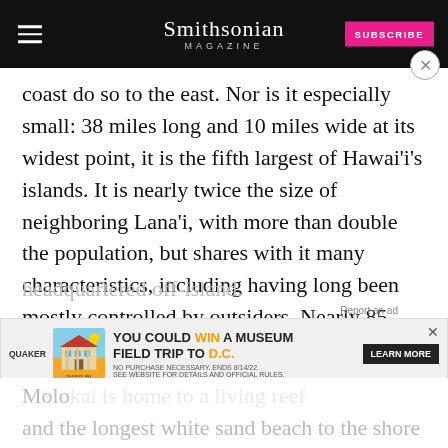Smithsonian MAGAZINE
coast do so to the east. Nor is it especially small: 38 miles long and 10 miles wide at its widest point, it is the fifth largest of Hawai‘i’s islands. It is nearly twice the size of neighboring Lana‘i, with more than double the population, but shares with it many characteristics, including having long been mostly controlled by outsiders. Nearly 85 percent of Molokai is controlled by seven owners, all but one of them headquartered off-island.
[Figure (screenshot): Quaker Museum Day advertisement banner: YOU COULD WIN A MUSEUM FIELD TRIP TO D.C. with LEARN MORE button]
and the longest white sand beach to the shore